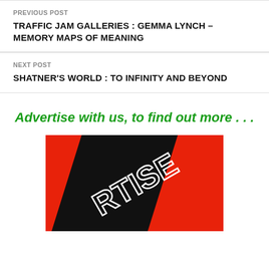PREVIOUS POST
TRAFFIC JAM GALLERIES : GEMMA LYNCH – MEMORY MAPS OF MEANING
NEXT POST
SHATNER'S WORLD : TO INFINITY AND BEYOND
Advertise with us, to find out more . . .
[Figure (logo): Red and black diagonal striped advertisement banner with white stylized text reading 'RTISE' (part of 'ADVERTISE')]